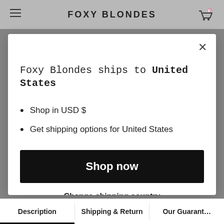FOXY BLONDES
Foxy Blondes ships to United States
Shop in USD $
Get shipping options for United States
Shop now
Change shipping country
Description | Shipping & Return | Our Guarantee